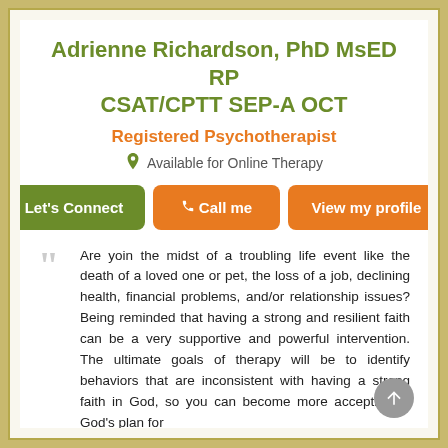Adrienne Richardson, PhD MsED RP CSAT/CPTT SEP-A OCT
Registered Psychotherapist
Available for Online Therapy
Let's Connect | Call me | View my profile
Are yoin the midst of a troubling life event like the death of a loved one or pet, the loss of a job, declining health, financial problems, and/or relationship issues? Being reminded that having a strong and resilient faith can be a very supportive and powerful intervention. The ultimate goals of therapy will be to identify behaviors that are inconsistent with having a strong faith in God, so you can become more accepting of God's plan for